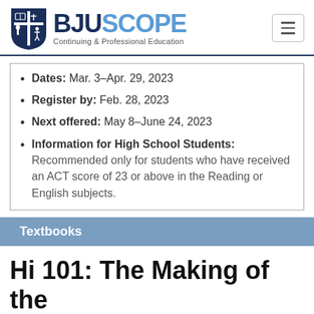BJU SCOPE — Continuing & Professional Education
Dates: Mar. 3–Apr. 29, 2023
Register by: Feb. 28, 2023
Next offered: May 8–June 24, 2023
Information for High School Students: Recommended only for students who have received an ACT score of 23 or above in the Reading or English subjects.
Textbooks
Hi 101: The Making of the Modern World